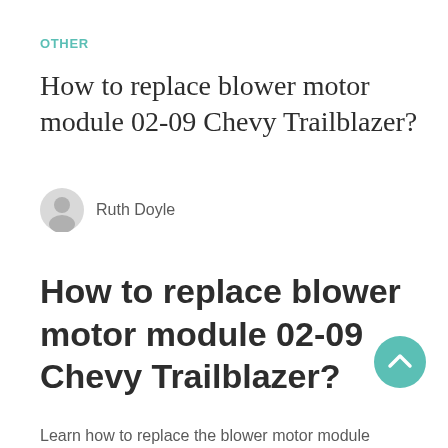OTHER
How to replace blower motor module 02-09 Chevy Trailblazer?
Ruth Doyle
How to replace blower motor module 02-09 Chevy Trailblazer?
Learn how to replace the blower motor module